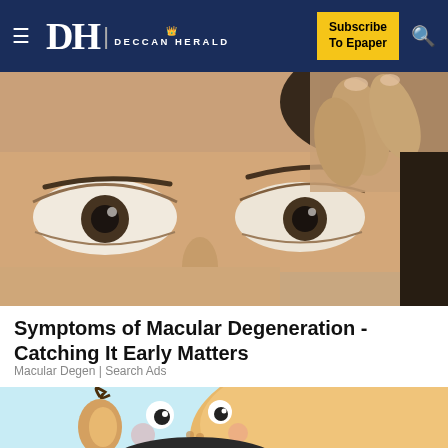Deccan Herald — Subscribe To Epaper
[Figure (photo): Close-up photo of a child's face, showing both eyes clearly. The child's right hand is pulling up the eyelid of the right eye. Dark eyes with prominent sclera. Skin tone is warm brown.]
Symptoms of Macular Degeneration - Catching It Early Matters
Macular Degen | Search Ads
[Figure (illustration): Cartoon illustration of a child character with a round face on a light blue background, partially cropped.]